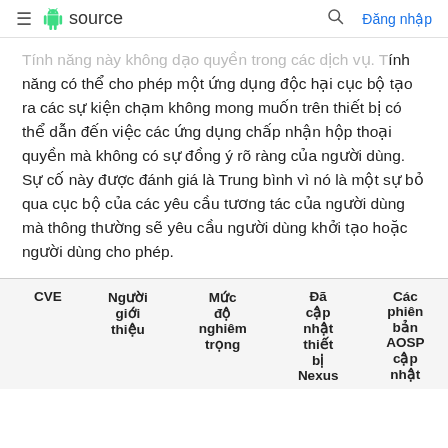≡ source  🔍 Đăng nhập
Tính năng này không dạo quyền trong các dịch vụ. Tính năng có thể cho phép một ứng dụng độc hại cục bộ tạo ra các sự kiện chạm không mong muốn trên thiết bị có thể dẫn đến việc các ứng dụng chấp nhận hộp thoại quyền mà không có sự đồng ý rõ ràng của người dùng. Sự cố này được đánh giá là Trung bình vì nó là một sự bỏ qua cục bộ của các yêu cầu tương tác của người dùng mà thông thường sẽ yêu cầu người dùng khởi tạo hoặc người dùng cho phép.
| CVE | Người giới thiệu | Mức độ nghiêm trọng | Đã cập nhật thiết bị Nexus | Các phiên bản AOSP cập nhật |
| --- | --- | --- | --- | --- |